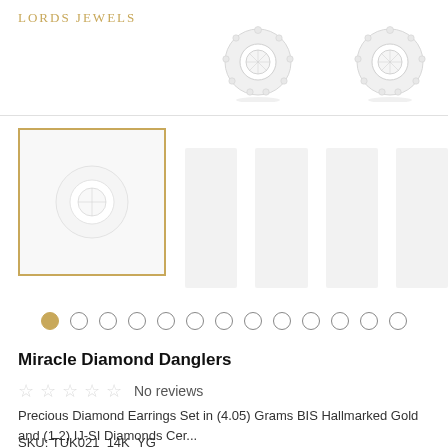Lords Jewels
[Figure (photo): Two diamond stud earrings with halo design shown from above, white gold/silver setting]
[Figure (photo): Thumbnail image of the earrings selected (first in carousel strip), with gold border indicating selection]
• • • • • • • • • • • • •  (carousel dot indicators, first dot filled/active)
Miracle Diamond Danglers
☆ ☆ ☆ ☆ ☆  No reviews
Precious Diamond Earrings Set in (4.05) Grams BIS Hallmarked Gold and (1.2) IJ-SI Diamonds Cer...
SKU: TUK021_14K_YG